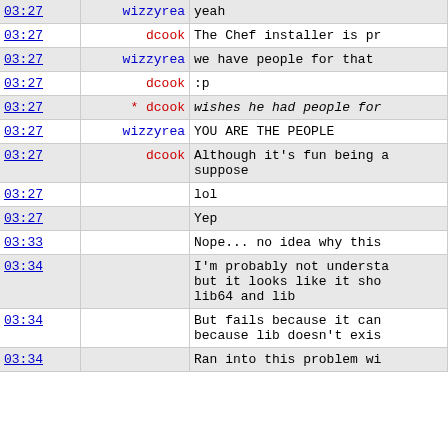| time | user | message |
| --- | --- | --- |
| 03:27 | wizzyrea | yeah |
| 03:27 | dcook | The Chef installer is pr |
| 03:27 | wizzyrea | we have people for that |
| 03:27 | dcook | :p |
| 03:27 | * dcook | wishes he had people for |
| 03:27 | wizzyrea | YOU ARE THE PEOPLE |
| 03:27 | dcook | Although it's fun being a suppose |
| 03:27 |  | lol |
| 03:27 |  | Yep |
| 03:33 |  | Nope... no idea why this |
| 03:34 |  | I'm probably not understa but it looks like it sho lib64 and lib |
| 03:34 |  | But fails because it can because lib doesn't exis |
| 03:34 |  | Ran into this problem wi |